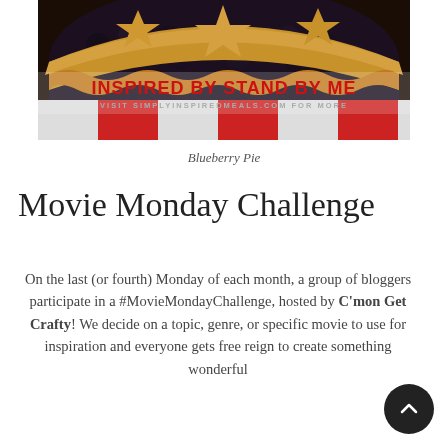[Figure (photo): Close-up photo of a blueberry pie with star-shaped pastry cutouts on top and a crimped crust edge, set on a red and white checkered cloth. Overlaid text reads 'INSPIRED BY STAND BY ME' in bold red and 'VISIT SIMPLYINSPIREDMEALS.COM FOR MORE' in gray.]
Blueberry Pie
Movie Monday Challenge
On the last (or fourth) Monday of each month, a group of bloggers participate in a #MovieMondayChallenge, hosted by C'mon Get Crafty! We decide on a topic, genre, or specific movie to use for inspiration and everyone gets free reign to create something wonderful